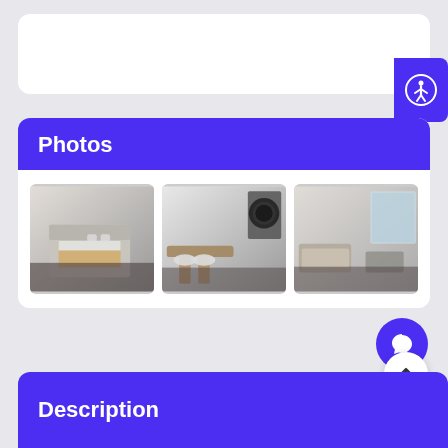[Figure (screenshot): White search bar / input area on grey background]
[Figure (illustration): Accessibility icon button (person with circle) on blue/purple background]
Photos
[Figure (photo): Hotel bedroom with double bed, neutral tones, wall-mounted headboard]
[Figure (photo): Dining area with round mirror on wall, wooden table and white chairs]
[Figure (photo): Living/lounge area with sofa, desk and city view window]
[Figure (illustration): Chat/message button (speech bubble icon) on purple circle]
[Figure (illustration): Scroll to top arrow button on white circle]
Description